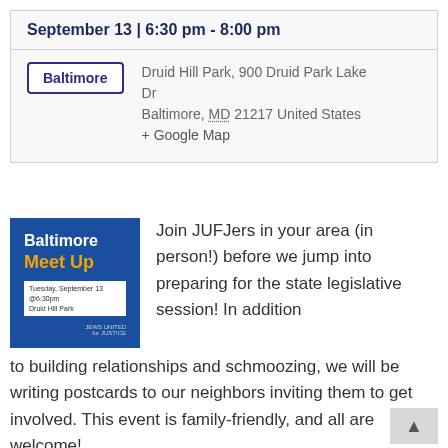September 13 | 6:30 pm - 8:00 pm
Baltimore
Druid Hill Park, 900 Druid Park Lake Dr
Baltimore, MD 21217 United States
+ Google Map
[Figure (illustration): Baltimore Meet Up event flyer image with blue background, showing text: Baltimore, Meet Up, Tuesday, September 13 @6:30pm, Druid Hill Park, with a logo at bottom right]
Join JUFJers in your area (in person!) before we jump into preparing for the state legislative session! In addition to building relationships and schmoozing, we will be writing postcards to our neighbors inviting them to get involved. This event is family-friendly, and all are welcome!